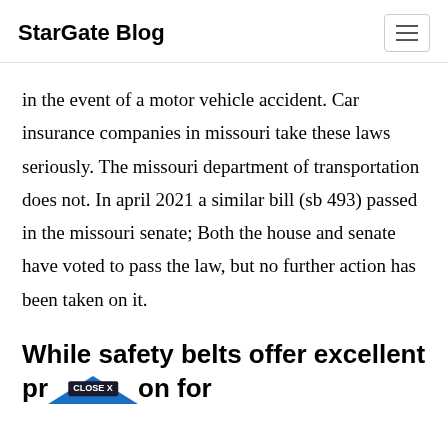StarGate Blog
in the event of a motor vehicle accident. Car insurance companies in missouri take these laws seriously. The missouri department of transportation does not. In april 2021 a similar bill (sb 493) passed in the missouri senate; Both the house and senate have voted to pass the law, but no further action has been taken on it.
While safety belts offer excellent protection for